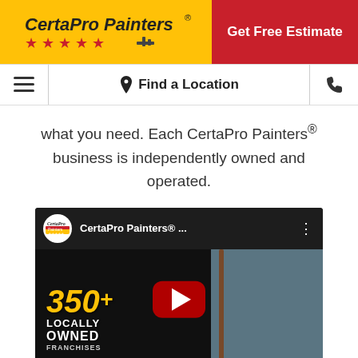[Figure (logo): CertaPro Painters logo on yellow background with stars]
[Figure (screenshot): Red banner with 'Get Free Estimate' call-to-action button]
[Figure (screenshot): Navigation bar with hamburger menu, Find a Location, and phone icon]
what you need. Each CertaPro Painters® business is independently owned and operated.
[Figure (screenshot): YouTube video thumbnail for CertaPro Painters showing '350+ Locally Owned' text with YouTube play button overlay]